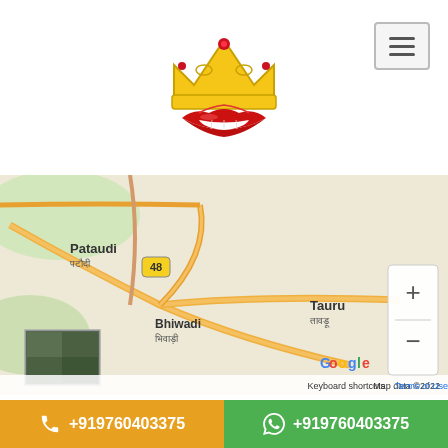[Figure (logo): Crown and lips logo for a beauty/cosmetics brand]
[Figure (map): Google Maps screenshot showing area around Pataudi, Bhiwadi, Tauru in Haryana, India with road 48 visible. Keyboard shortcuts | Map data ©2022 | Terms of Use]
Sheetla Mata Rd, Masani Village, Sector 6, Gurugram, Haryana 122001, India
+919760403375
+919760403375